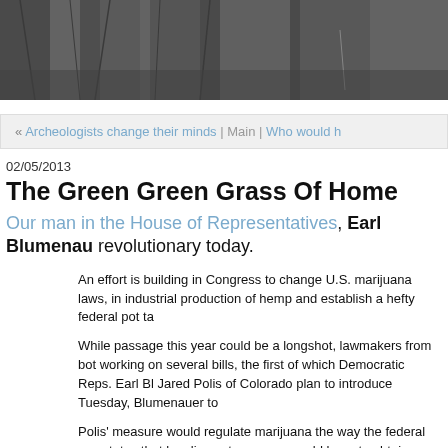[Figure (photo): Dark grayscale header photo, appears to show metal or industrial objects in close-up]
« Archeologists change their minds | Main | Who would h
02/05/2013
The Green Green Grass Of Home
Our man in the House of Representatives, Earl Blumenau revolutionary today.
An effort is building in Congress to change U.S. marijuana laws, in industrial production of hemp and establish a hefty federal pot ta
While passage this year could be a longshot, lawmakers from bot working on several bills, the first of which Democratic Reps. Earl Bl Jared Polis of Colorado plan to introduce Tuesday, Blumenauer to
Polis' measure would regulate marijuana the way the federal gov states that legalize pot, growers would have to obtain a federal p would be removed from the Drug Enforcement Administration anc Bureau of Alcohol, Tobacco, Marijuana and Firearms, and it would marijuana from a state where it's legal to one where it isn't.